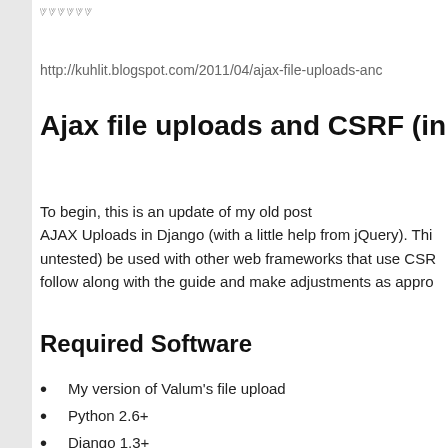ꘙꘙꘙꘙꘙꘙ
http://kuhlit.blogspot.com/2011/04/ajax-file-uploads-and...
Ajax file uploads and CSRF (in Django...
To begin, this is an update of my old post
AJAX Uploads in Django (with a little help from jQuery). Thi...
untested) be used with other web frameworks that use CSR...
follow along with the guide and make adjustments as appr...
Required Software
My version of Valum's file upload
Python 2.6+
Django 1.3+
If you are on an older version of Python and/or Django, read...
prior version of this post and especially
this Stack Overflow question of mine may provide some hel...
save_upload function. The code uses buffered readers/write...
can easily be changed I suspect) and reads from the raw Ht...